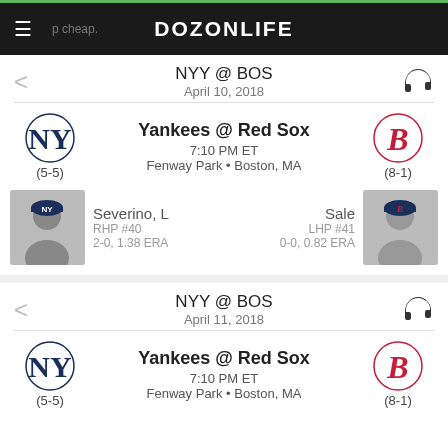DOZONLIFE
NYY @ BOS
April 10, 2018
Yankees @ Red Sox
7:10 PM ET
Fenway Park • Boston, MA
(5-5) / (8-1)
Severino, L
RHP #40
2-0, 1.38 ERA
Sale
LHP #41
0-0, 0.82 ERA
NYY @ BOS
April 11, 2018
Yankees @ Red Sox
7:10 PM ET
Fenway Park • Boston, MA
(5-5) / (8-1)